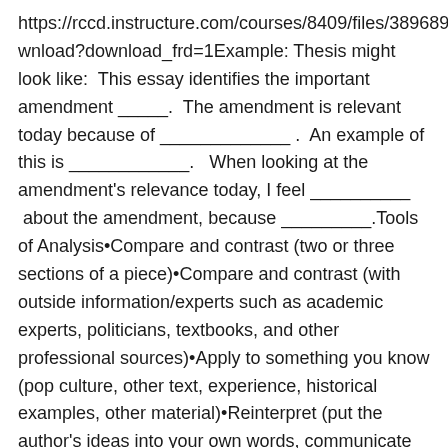https://rccd.instructure.com/courses/8409/files/389689/download?download_frd=1Example: Thesis might look like: This essay identifies the important amendment _____. The amendment is relevant today because of _____________. An example of this is ____________. When looking at the amendment's relevance today, I feel __________ about the amendment, because _________.Tools of Analysis•Compare and contrast (two or three sections of a piece)•Compare and contrast (with outside information/experts such as academic experts, politicians, textbooks, and other professional sources)•Apply to something you know (pop culture, other text, experience, historical examples, other material)•Reinterpret (put the author's ideas into your own words, communicate their point in a new way)•Relevance (does the author's ideas apply to something going on today?)•Argue for (provide several examples why the author is correct)•Argue against (provide at least one example why